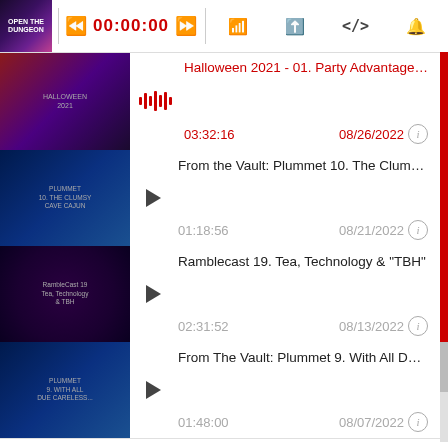[Figure (screenshot): Podcast player top bar with thumbnail, rewind, 00:00:00, fast-forward controls, and icons]
Halloween 2021 - 01. Party Advantage Pod | 03:32:16 | 08/26/2022
From the Vault: Plummet 10. The Clumsy Cave Ca... | 01:18:56 | 08/21/2022
Ramblecast 19. Tea, Technology & "TBH" | 02:31:52 | 08/13/2022
From The Vault: Plummet 9. With All Due Careless... | 01:48:00 | 08/07/2022
Dark Tide 8. The Haunting Horror of Houses | 01:22:09 | 07/31/2022
From The Vault: Plummet 8. The Searching of the S...
[Figure (screenshot): Tweet card from Penance RPG @PenanceR... 2h, replying to @PenanceRPG, mentioning @DrPiecUK]